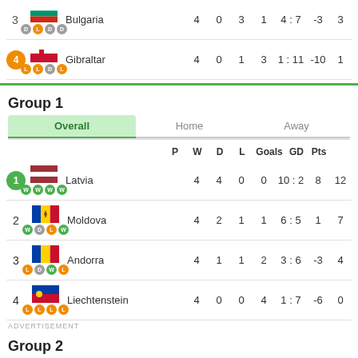| # | Team | P | W | D | L | Goals | GD | Pts |
| --- | --- | --- | --- | --- | --- | --- | --- | --- |
| 3 | Bulgaria | 4 | 0 | 3 | 1 | 4:7 | -3 | 3 |
| 4 | Gibraltar | 4 | 0 | 1 | 3 | 1:11 | -10 | 1 |
Group 1
| # | Team | P | W | D | L | Goals | GD | Pts |
| --- | --- | --- | --- | --- | --- | --- | --- | --- |
| 1 | Latvia | 4 | 4 | 0 | 0 | 10:2 | 8 | 12 |
| 2 | Moldova | 4 | 2 | 1 | 1 | 6:5 | 1 | 7 |
| 3 | Andorra | 4 | 1 | 1 | 2 | 3:6 | -3 | 4 |
| 4 | Liechtenstein | 4 | 0 | 0 | 4 | 1:7 | -6 | 0 |
ADVERTISEMENT
Group 2